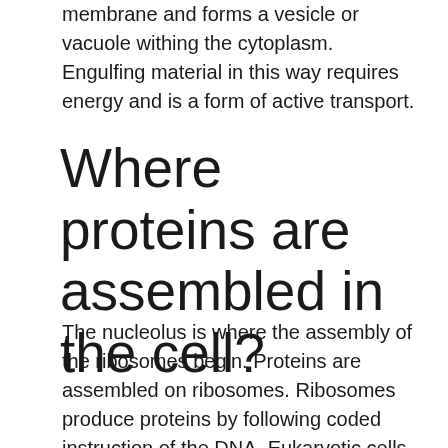membrane and forms a vesicle or vacuole withing the cytoplasm. Engulfing material in this way requires energy and is a form of active transport.
Where proteins are assembled in the cell?
The nucleolus is where the assembly of the ribosomes begin. Proteins are assembled on ribosomes. Ribosomes produce proteins by following coded instruction of the DNA. Eukaryotic cells contain an internal membrane system known as the endoplasmic reticulum.
What are groups of